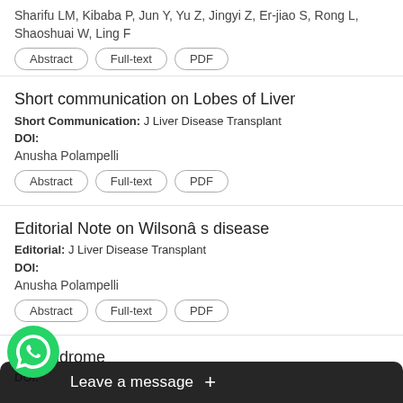Sharifu LM, Kibaba P, Jun Y, Yu Z, Jingyi Z, Er-jiao S, Rong L, Shaoshuai W, Ling F
Abstract | Full-text | PDF
Short communication on Lobes of Liver
Short Communication: J Liver Disease Transplant
DOI:
Anusha Polampelli
Abstract | Full-text | PDF
Editorial Note on Wilson's disease
Editorial: J Liver Disease Transplant
DOI:
Anusha Polampelli
Abstract | Full-text | PDF
...le Syndrome
DOI: